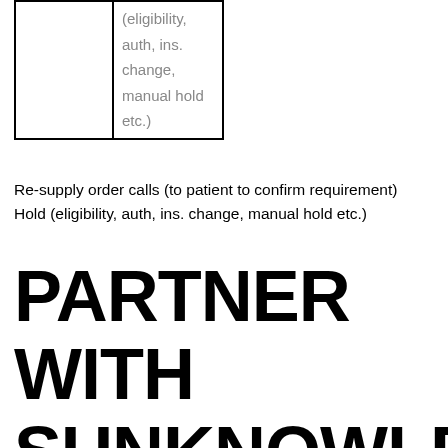|  | (eligibility, auth, ins. change, manual hold etc.) |
Re-supply order calls (to patient to confirm requirement)
Hold (eligibility, auth, ins. change, manual hold etc.)
PARTNER WITH SUNKNOWLEDGE FOR A UNIQUE HME PRE BILLING